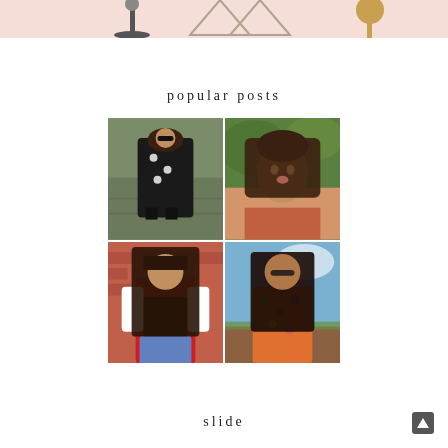[Figure (illustration): Decorative illustration with geometric lamp/furniture shapes on light pink background visible at top]
popular posts
[Figure (photo): 2x2 grid of four fashion photos of young women in various outfits outdoors]
slide